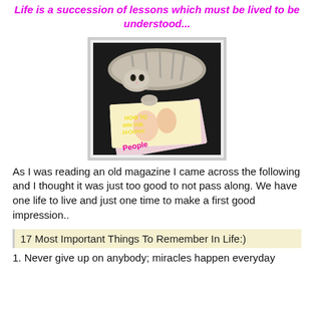Life is a succession of lessons which must be lived to be understood...
[Figure (photo): A cat sitting on top of several magazines on a dark surface]
As I was reading an old magazine I came across the following and I thought it was just too good to not pass along.  We have one life to live and just one time to make a first good impression..
17 Most Important Things To Remember In Life:)
1.  Never give up on anybody; miracles happen everyday